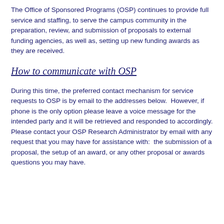The Office of Sponsored Programs (OSP) continues to provide full service and staffing, to serve the campus community in the preparation, review, and submission of proposals to external funding agencies, as well as, setting up new funding awards as they are received.
How to communicate with OSP
During this time, the preferred contact mechanism for service requests to OSP is by email to the addresses below. However, if phone is the only option please leave a voice message for the intended party and it will be retrieved and responded to accordingly. Please contact your OSP Research Administrator by email with any request that you may have for assistance with: the submission of a proposal, the setup of an award, or any other proposal or awards questions you may have.